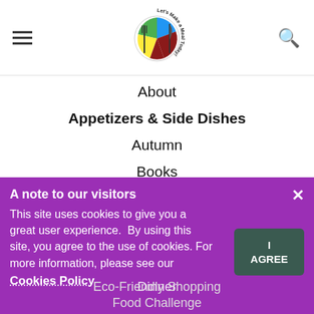[Figure (logo): Let's Make a Meal Today! circular logo with a pie chart plate divided into green, blue, red, and yellow sections with fork and knife, text arcing around the circle]
About
Appetizers & Side Dishes
Autumn
Books
Breakfast
Cooking Tips
Dinner
Eco-Friendly Shopping
Food Challenge
A note to our visitors
This site uses cookies to give you a great user experience. By using this site, you agree to the use of cookies. For more information, please see our
Cookies Policy